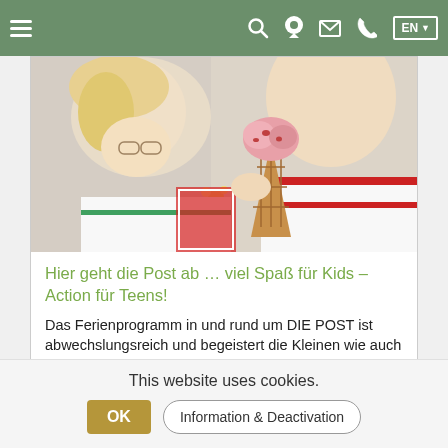Navigation bar with hamburger menu, search, location, mail, phone icons, and EN language selector
[Figure (photo): Two children sharing/eating an ice cream cone, wearing white and red traditional clothing, outdoors]
Hier geht die Post ab … viel Spaß für Kids – Action für Teens!
Das Ferienprogramm in und rund um DIE POST ist abwechslungsreich und begeistert die Kleinen wie auch die Teens! Neue…
TO BLOG ▶
This website uses cookies.
OK   Information & Deactivation